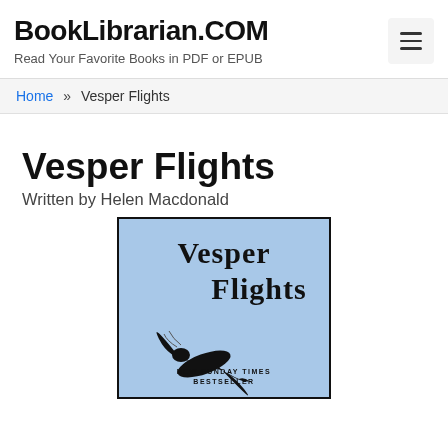BookLibrarian.COM — Read Your Favorite Books in PDF or EPUB
Home » Vesper Flights
Vesper Flights
Written by Helen Macdonald
[Figure (illustration): Book cover of Vesper Flights by Helen Macdonald. Light blue background with bold black text reading 'Vesper Flights' and an illustration of a swift bird in flight with wings spread. Text at the bottom reads 'New Sunday Times Bestseller'.]